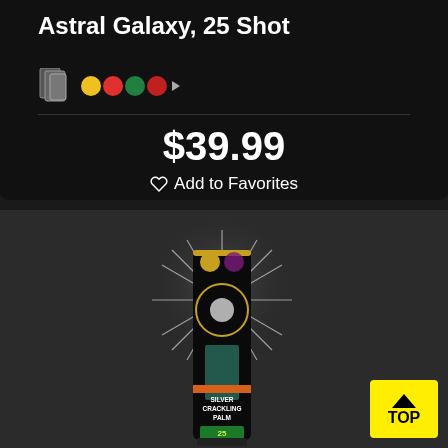Astral Galaxy, 25 Shot
$39.99
Add to Favorites
[Figure (photo): Firework tube product labeled 'Silver Crackling Palm' with Statue of Liberty imagery and a starburst graphic, shown against dark background]
TOP